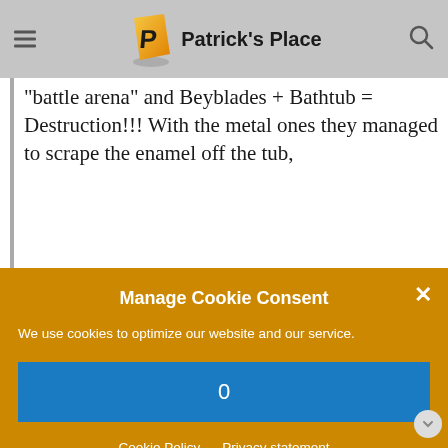Patrick's Place
"battle arena" and Beyblades + Bathtub = Destruction!!! With the metal ones they managed to scrape the enamel off the tub,
Manage Cookie Consent
We use cookies to optimize our website and our service.
0
Cookie Policy   Privacy statement
balance and then it is onto other toys!"
What’s even more disturbing is that she posted picture of her upset children on the auction page. One of them is clearly crying, the other is holding a